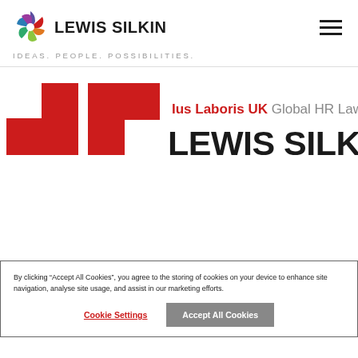[Figure (logo): Lewis Silkin logo with colorful geometric flower/pinwheel icon and bold text LEWIS SILKIN]
IDEAS. PEOPLE. POSSIBILITIES.
[Figure (logo): Ius Laboris UK Global HR Lawyers - Lewis Silkin banner logo with red geometric shapes on left and text on right]
Share article →
By clicking "Accept All Cookies", you agree to the storing of cookies on your device to enhance site navigation, analyse site usage, and assist in our marketing efforts.
Cookie Settings
Accept All Cookies